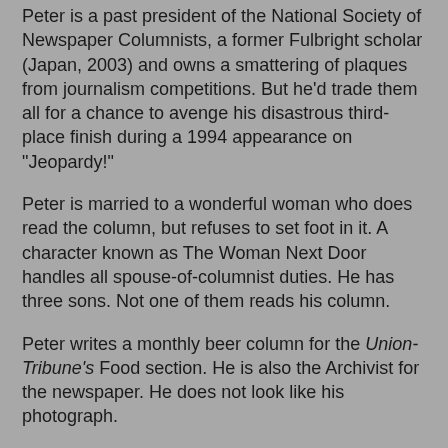Peter is a past president of the National Society of Newspaper Columnists, a former Fulbright scholar (Japan, 2003) and owns a smattering of plaques from journalism competitions. But he'd trade them all for a chance to avenge his disastrous third-place finish during a 1994 appearance on "Jeopardy!"
Peter is married to a wonderful woman who does read the column, but refuses to set foot in it. A character known as The Woman Next Door handles all spouse-of-columnist duties. He has three sons. Not one of them reads his column.
Peter writes a monthly beer column for the Union-Tribune's Food section. He is also the Archivist for the newspaper. He does not look like his photograph.
Please enter the auditorium through the Conference Room door off the east entrance hallway in order to register, pick up handouts, buy an opportunity drawing ticket and have a snack before the meeting.